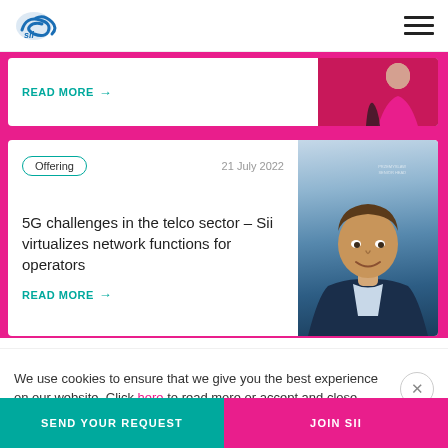Sii logo and navigation menu
READ MORE →
Offering   21 July 2022
5G challenges in the telco sector – Sii virtualizes network functions for operators
READ MORE →
We use cookies to ensure that we give you the best experience on our website. Click here to read more or accept and close.
SEND YOUR REQUEST
JOIN SII